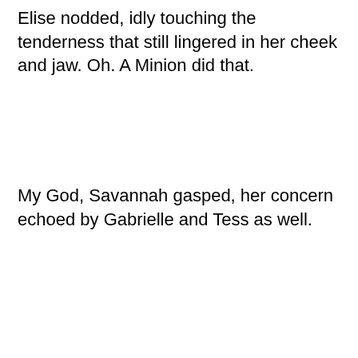Elise nodded, idly touching the tenderness that still lingered in her cheek and jaw. Oh. A Minion did that.
My God, Savannah gasped, her concern echoed by Gabrielle and Tess as well.